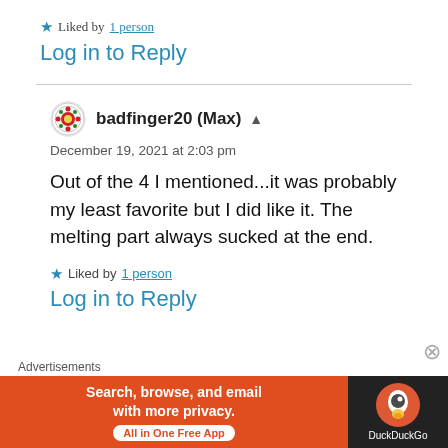★ Liked by 1 person
Log in to Reply
badfinger20 (Max) ▲
December 19, 2021 at 2:03 pm
Out of the 4 I mentioned...it was probably my least favorite but I did like it. The melting part always sucked at the end.
★ Liked by 1 person
Log in to Reply
Advertisements
[Figure (infographic): DuckDuckGo advertisement banner: orange section with text 'Search, browse, and email with more privacy. All in One Free App' and dark section with DuckDuckGo logo and name.]